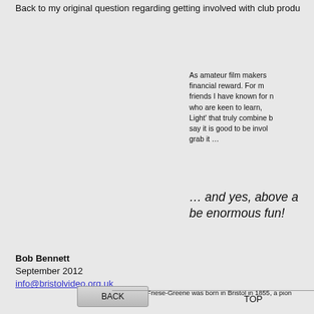Back to my original question regarding getting involved with club produ
As amateur film makers financial reward. For m friends I have known for r who are keen to learn, Light' that truly combine b say it is good to be invol grab it …
… and yes, above a be enormous fun!
Bob Bennett
September 2012
info@bristolvideo.org.uk
* William Friese-Greene was born in Bristol in 1855, a pion
BACK   TOP